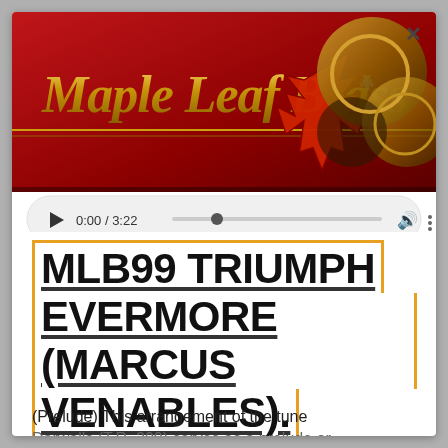[Figure (screenshot): Maple Leaf Brass banner with red background, gold text logo, maple leaf graphic, brass instruments, and an audio player showing 0:00 / 3:22]
MLB99 TRIUMPH EVERMORE (MARCUS VENABLES).
(Prelude) This arrangement of the tune Darwalls (T.R. 200) serves as a prelude or